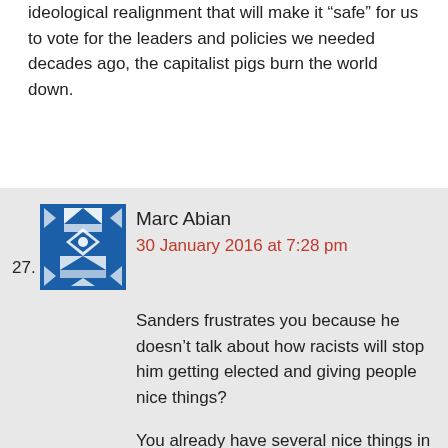ideological realignment that will make it 'safe' for us to vote for the leaders and policies we needed decades ago, the capitalist pigs burn the world down.
27. Marc Abian
30 January 2016 at 7:28 pm

Sanders frustrates you because he doesn't talk about how racists will stop him getting elected and giving people nice things?

You already have several nice things in your country, despite your latinos. How does that fit in with your view?
28. The Vicar (via Freethoughtblogs)
30 January 2016 at 7:31 pm